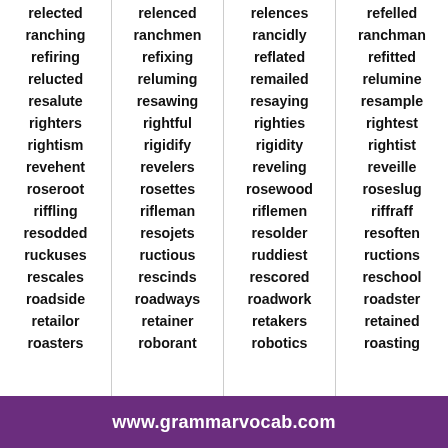| Col1 | Col2 | Col3 | Col4 |
| --- | --- | --- | --- |
| relected | relenced | relences | refelled |
| ranching | ranchmen | rancidly | ranchman |
| refiring | refixing | reflated | refitted |
| relucted | reluming | remailed | relumine |
| resalute | resawing | resaying | resample |
| righters | rightful | righties | rightest |
| rightism | rigidify | rigidity | rightist |
| revehent | revelers | reveling | reveille |
| roseroot | rosettes | rosewood | roseslug |
| riffling | rifleman | riflemen | riffraff |
| resodded | resojets | resolder | resoften |
| ruckuses | ructious | ruddiest | ructions |
| rescales | rescinds | rescored | reschool |
| roadside | roadways | roadwork | roadster |
| retailor | retainer | retakers | retained |
| roasters | roborant | robotics | roasting |
www.grammarvocab.com